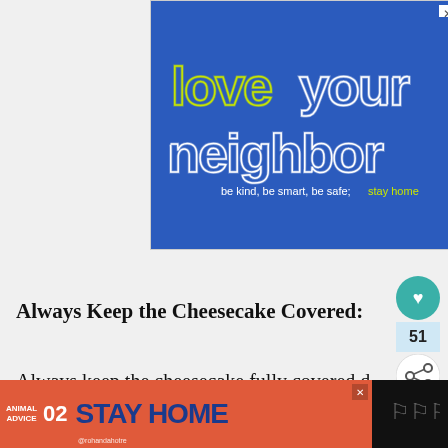[Figure (illustration): Blue advertisement banner with retro-style text 'love your neighbor' in outlined/striped letters (yellow-green and white), with tagline 'be kind, be smart, be safe; stay home' and a close/X button in the top right corner]
Always Keep the Cheesecake Covered:
Always keep the cheesecake fully covered d...
[Figure (illustration): Bottom banner ad with orange/red background showing 'ANIMAL ADVICE 02 STAY HOME' text with mushroom/nature illustration and @rohandahotre handle, with close button]